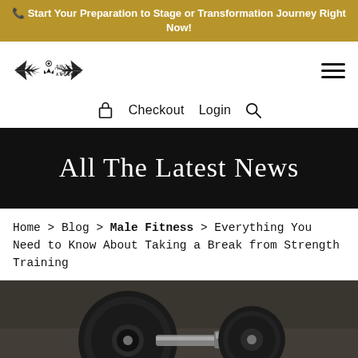📞 Start Your Preparation to Stage or Transformation Journey Right Now!
[Figure (logo): Ally's Angels logo with wings and stylized signature text and 'ANGELS' underneath]
Checkout  Login
All The Latest News
Home > Blog > Male Fitness > Everything You Need to Know About Taking a Break from Strength Training
[Figure (photo): Close-up photo of a dumbbell weight on a dark background]